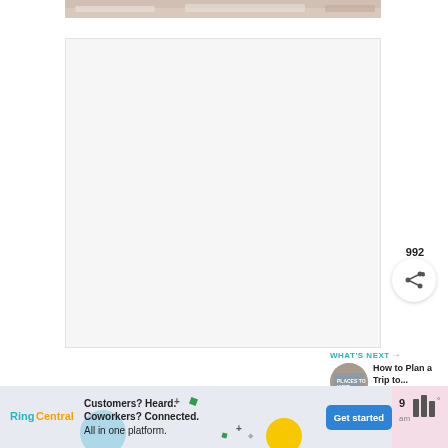[Figure (photo): Top partial image strip showing fabric or bedding, cropped at the top of the page]
[Figure (other): Large light gray/white rectangular content area (main article image or embedded content placeholder)]
[Figure (other): Teal circular like/heart button with heart icon showing 992 likes, and a white circular share button below it]
992
[Figure (infographic): What's Next panel with circular thumbnail, text 'How to Plan a Trip to...' and a cursive 'Top' signature below]
WHAT'S NEXT → How to Plan a Trip to...
[Figure (other): Advertisement banner for RingCentral: 'Customers? Heard. Coworkers? Connected. All in one platform.' with a Get started button, decorative dots and circles]
Customers? Heard. Coworkers? Connected. All in one platform.